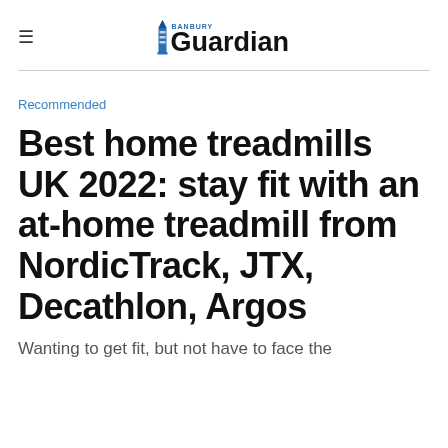≡  Banbury Guardian
Recommended
Best home treadmills UK 2022: stay fit with an at-home treadmill from NordicTrack, JTX, Decathlon, Argos
Wanting to get fit, but not have to face the